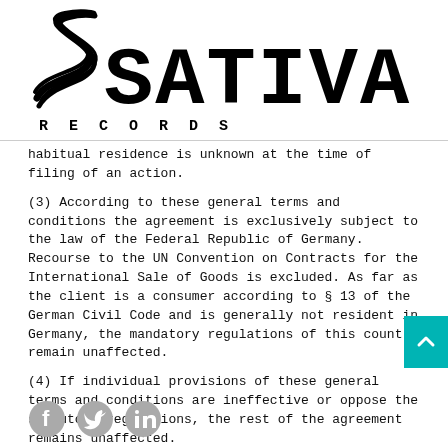[Figure (logo): Sativa Records logo with stylized S icon and pixelated SATIVA text above RECORDS in spaced lettering]
habitual residence is unknown at the time of filing of an action.
(3) According to these general terms and conditions the agreement is exclusively subject to the law of the Federal Republic of Germany. Recourse to the UN Convention on Contracts for the International Sale of Goods is excluded. As far as the client is a consumer according to § 13 of the German Civil Code and is generally not resident in Germany, the mandatory regulations of this country remain unaffected.
(4) If individual provisions of these general terms and conditions are ineffective or oppose the statutory regulations, the rest of the agreement remains unaffected.
[Figure (illustration): Social media icons: Facebook, Twitter, LinkedIn in grey]